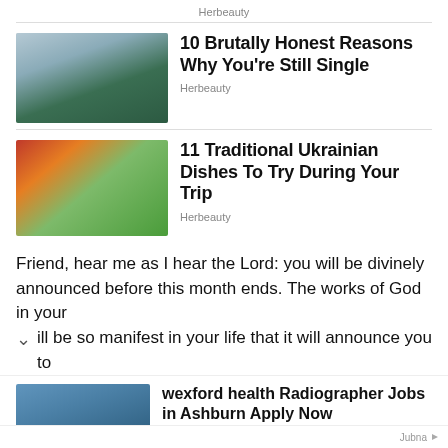Herbeauty
[Figure (photo): Young woman with hair buns looking thoughtful, biting finger]
10 Brutally Honest Reasons Why You’re Still Single
Herbeauty
[Figure (photo): Traditional Ukrainian dish - aspic/holodets with vegetables and greens on a plate]
11 Traditional Ukrainian Dishes To Try During Your Trip
Herbeauty
Friend, hear me as I hear the Lord: you will be divinely announced before this month ends. The works of God in your
ill be so manifest in your life that it will announce you to
[Figure (photo): Female healthcare worker in blue scrubs smiling with colleagues in background]
wexford health Radiographer Jobs in Ashburn Apply Now
jobble.com | Sponsored
Jubna